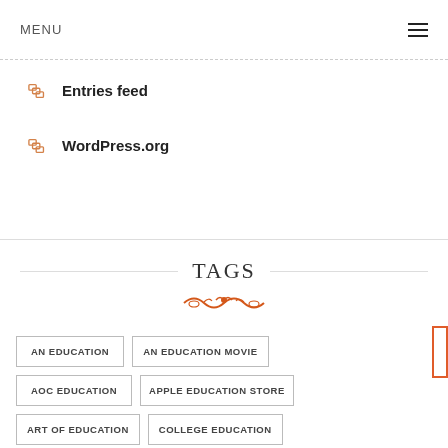MENU
Entries feed
WordPress.org
TAGS
AN EDUCATION
AN EDUCATION MOVIE
AOC EDUCATION
APPLE EDUCATION STORE
ART OF EDUCATION
COLLEGE EDUCATION